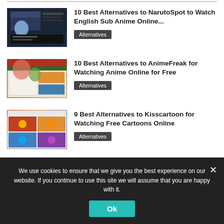[Figure (screenshot): Thumbnail screenshot of NarutoSpot anime website with dark background and anime character]
10 Best Alternatives to NarutoSpot to Watch English Sub Anime Online...
Alternatives
[Figure (screenshot): Thumbnail screenshot of AnimeFreak website with colorful anime characters and green/orange layout]
10 Best Alternatives to AnimeFreak for Watching Anime Online for Free
Alternatives
[Figure (screenshot): Thumbnail screenshot of Kisscartoon website showing colorful cartoon thumbnails]
9 Best Alternatives to Kisscartoon for Watching Free Cartoons Online
Alternatives
[Figure (screenshot): Partial thumbnail of a website with red header, partially visible]
...
We use cookies to ensure that we give you the best experience on our website. If you continue to use this site we will assume that you are happy with it.
Ok